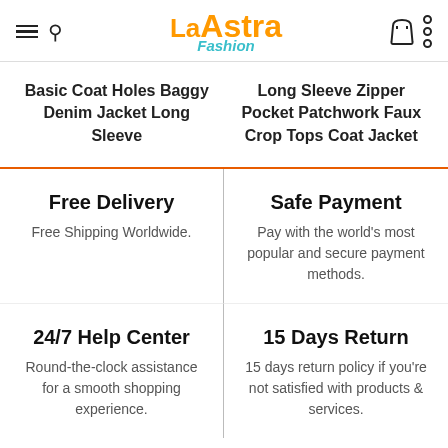La Astra Fashion
Basic Coat Holes Baggy Denim Jacket Long Sleeve
Long Sleeve Zipper Pocket Patchwork Faux Crop Tops Coat Jacket
Free Delivery
Free Shipping Worldwide.
Safe Payment
Pay with the world's most popular and secure payment methods.
24/7 Help Center
Round-the-clock assistance for a smooth shopping experience.
15 Days Return
15 days return policy if you're not satisfied with products & services.